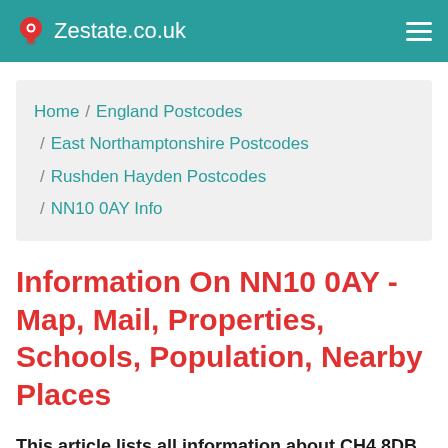Zestate.co.uk
Home / England Postcodes / East Northamptonshire Postcodes / Rushden Hayden Postcodes / NN10 0AY Info
Information On NN10 0AY - Map, Mail, Properties, Schools, Population, Nearby Places
This article lists all information about CH4 8DB postcode, such as Residential